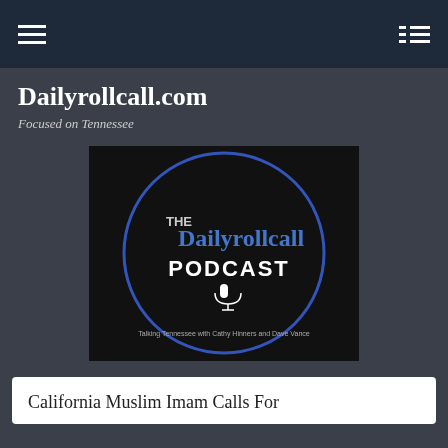☰  ☱
Dailyrollcall.com
Focused on Tennessee
[Figure (logo): The Dailyrollcall Podcast logo: circular blue outline on black background with text 'THE Dailyrollcall PODCAST' and a microphone icon. Subtitle: 'Talking Tennessee with Cathy Hinners and Dave Vance']
California Muslim Imam Calls For